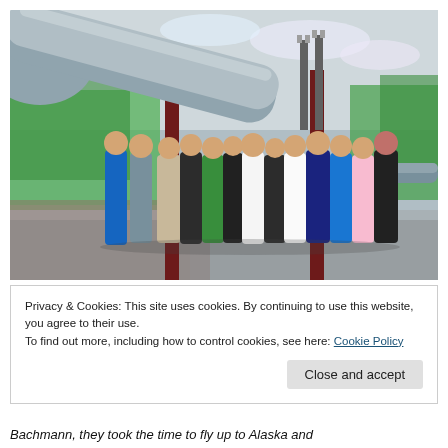[Figure (photo): Group of approximately 20 people standing together outdoors next to the Trans-Alaska Pipeline. Large gray pipe visible in upper left, industrial pipeline supports and towers visible in background. Green trees and cloudy sky visible behind the group.]
Privacy & Cookies: This site uses cookies. By continuing to use this website, you agree to their use.
To find out more, including how to control cookies, see here: Cookie Policy
Close and accept
Bachmann, they took the time to fly up to Alaska and